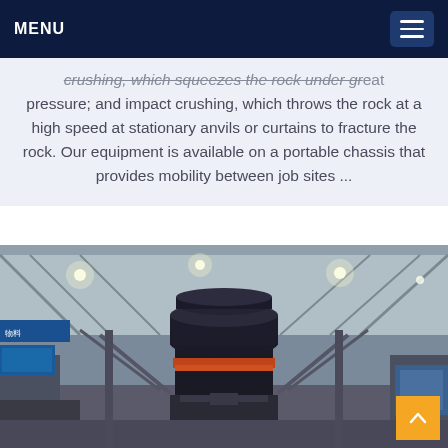MENU
crushing, which squeezes the rock under great pressure; and impact crushing, which throws the rock at a high speed at stationary anvils or curtains to fracture the rock. Our equipment is available on a portable chassis that provides mobility between job sites ...
[Figure (photo): Industrial cone crusher machine inside a large factory/warehouse hall with steel roof trusses and bright overhead lighting. The cone crusher is a large cylindrical black metal machine on a pedestal. Chinese banners visible on the left side.]